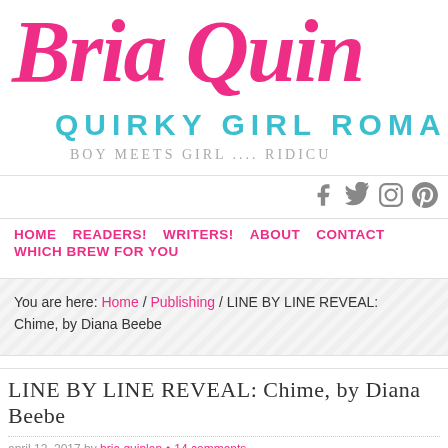[Figure (logo): Bria Quinlan blog logo with script pink text 'Bria Quin', teal uppercase 'QUIRKY GIRL ROMA', and gray tagline 'BOY MEETS GIRL.... RIDICU']
[Figure (infographic): Social media icons: Facebook, Twitter, Instagram, Pinterest in gray]
HOME  READERS!  WRITERS!  ABOUT  CONTACT  WHICH BREW FOR YOU
You are here: Home / Publishing / LINE BY LINE REVEAL: Chime, by Diana Beebe
LINE BY LINE REVEAL: Chime, by Diana Beebe
april 12, 2017 by bria quinlan • 14 comments